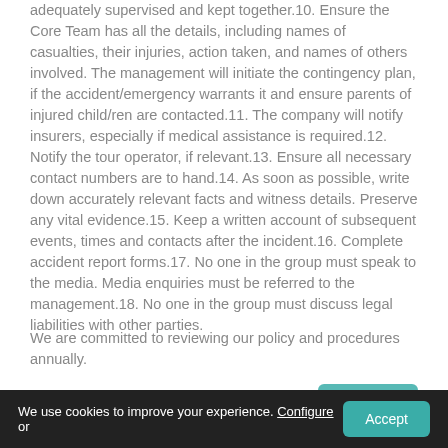adequately supervised and kept together.10. Ensure the Core Team has all the details, including names of casualties, their injuries, action taken, and names of others involved. The management will initiate the contingency plan, if the accident/emergency warrants it and ensure parents of injured child/ren are contacted.11. The company will notify insurers, especially if medical assistance is required.12. Notify the tour operator, if relevant.13. Ensure all necessary contact numbers are to hand.14. As soon as possible, write down accurately relevant facts and witness details. Preserve any vital evidence.15. Keep a written account of subsequent events, times and contacts after the incident.16. Complete accident report forms.17. No one in the group must speak to the media. Media enquiries must be referred to the management.18. No one in the group must discuss legal liabilities with other parties.
We are committed to reviewing our policy and procedures annually.
We use cookies to improve your experience. Configure or Accept